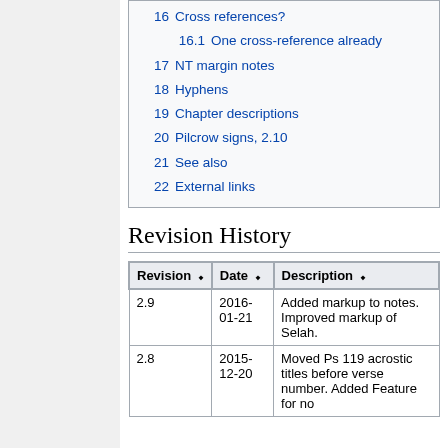16  Cross references?
16.1  One cross-reference already
17  NT margin notes
18  Hyphens
19  Chapter descriptions
20  Pilcrow signs, 2.10
21  See also
22  External links
Revision History
| Revision | Date | Description |
| --- | --- | --- |
| 2.9 | 2016-01-21 | Added markup to notes. Improved markup of Selah. |
| 2.8 | 2015-12-20 | Moved Ps 119 acrostic titles before verse number. Added Feature for no |